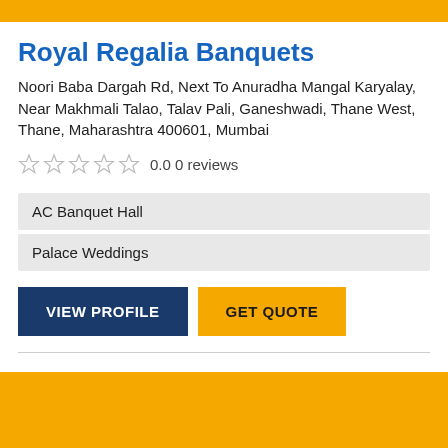Royal Regalia Banquets
Noori Baba Dargah Rd, Next To Anuradha Mangal Karyalay, Near Makhmali Talao, Talav Pali, Ganeshwadi, Thane West, Thane, Maharashtra 400601, Mumbai
0.0 0 reviews
AC Banquet Hall
Palace Weddings
VIEW PROFILE
GET QUOTE